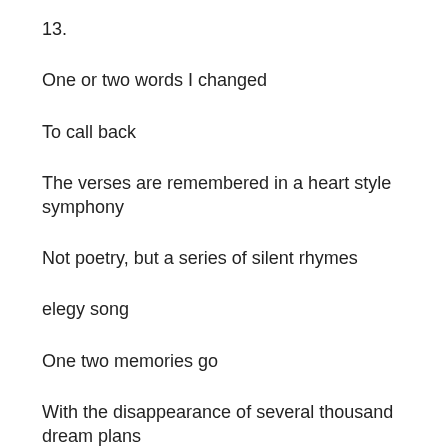13.
One or two words I changed
To call back
The verses are remembered in a heart style symphony
Not poetry, but a series of silent rhymes
elegy song
One two memories go
With the disappearance of several thousand dream plans